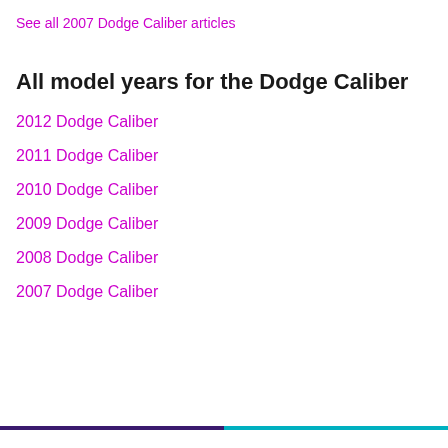See all 2007 Dodge Caliber articles
All model years for the Dodge Caliber
2012 Dodge Caliber
2011 Dodge Caliber
2010 Dodge Caliber
2009 Dodge Caliber
2008 Dodge Caliber
2007 Dodge Caliber